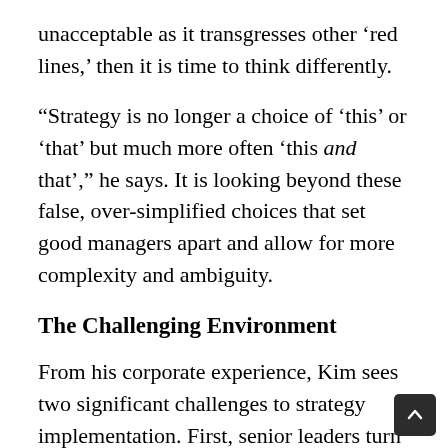unacceptable as it transgresses other ‘red lines,’ then it is time to think differently.
“Strategy is no longer a choice of ‘this’ or ‘that’ but much more often ‘this and that’,” he says. It is looking beyond these false, over-simplified choices that set good managers apart and allow for more complexity and ambiguity.
The Challenging Environment
From his corporate experience, Kim sees two significant challenges to strategy implementation. First, senior leaders turn over quickly. “It’s hard to have consistency of vision and leadership and implementation